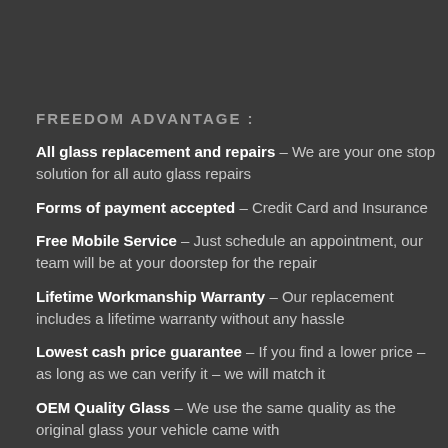FREEDOM ADVANTAGE :
All glass replacement and repairs – We are your one stop solution for all auto glass repairs
Forms of payment accepted – Credit Card and Insurance
Free Mobile Service – Just schedule an appointment, our team will be at your doorstep for the repair
Lifetime Workmanship Warranty – Our replacement includes a lifetime warranty without any hassle
Lowest cash price guarantee – If you find a lower price – as long as we can verify it – we will match it
OEM Quality Glass – We use the same quality as the original glass your vehicle came with